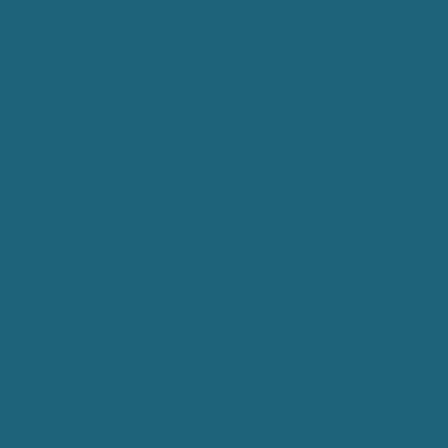| Parameter |  | Description |
| --- | --- | --- |
|  |  | im co |
| retry |  | Nu tim a f co att (de |
| command |  | Th of co tha re da sh |
| alias |  | Sa co |
| message |  | Me |
| result |  | Re eit nu Ok Ch UN |